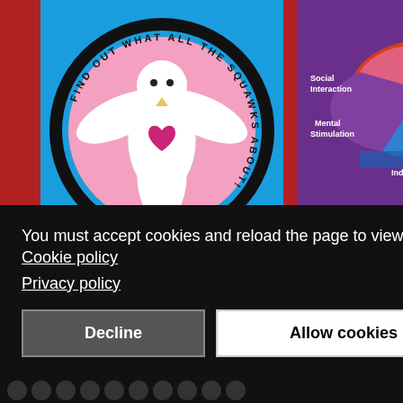[Figure (illustration): SuperBirdToyStore.com banner showing a white bird with pink heart on blue background with circular text 'FIND OUT WHAT ALL THE SQUAWKS ABOUT!' and website name at bottom]
[Figure (pie-chart): AvianEnrichment pie chart partially visible showing colored segments labeled Diet/Nutrition, Social Interaction, Mental Stimulation, Independence, Security]
You must accept cookies and reload the page to view this content. Cookie policy
Privacy policy
Decline
Allow cookies
To Us
ht © 2009 –